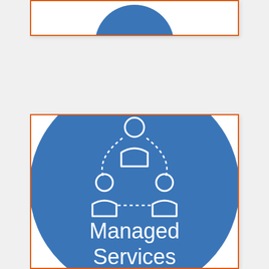[Figure (illustration): Top partial view of an orange-bordered card showing a blue circle partially visible at the top of the page]
[Figure (illustration): Orange-bordered card containing a large blue circle with a white 'managed services' icon (three connected person silhouettes arranged in a network with dotted arc/lines) and white text reading 'Managed Services']